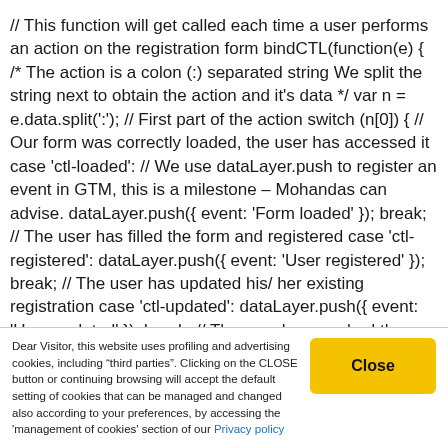// This function will get called each time a user performs an action on the registration form bindCTL(function(e) { /* The action is a colon (:) separated string We split the string next to obtain the action and it's data */ var n = e.data.split(':'); // First part of the action switch (n[0]) { // Our form was correctly loaded, the user has accessed it case 'ctl-loaded': // We use dataLayer.push to register an event in GTM, this is a milestone – Mohandas can advise. dataLayer.push({ event: 'Form loaded' }); break; // The user has filled the form and registered case 'ctl-registered': dataLayer.push({ event: 'User registered' }); break; // The user has updated his/ her existing registration case 'ctl-updated': dataLayer.push({ event: 'User updated' }); break; // The user has reached the confirmation page case 'ctl-confirmed': dataLayer.push({ event: 'User confirmed' }); break; //
Dear Visitor, this website uses profiling and advertising cookies, including "third parties". Clicking on the CLOSE button or continuing browsing will accept the default setting of cookies that can be managed and changed also according to your preferences, by accessing the 'management of cookies' section of our Privacy policy